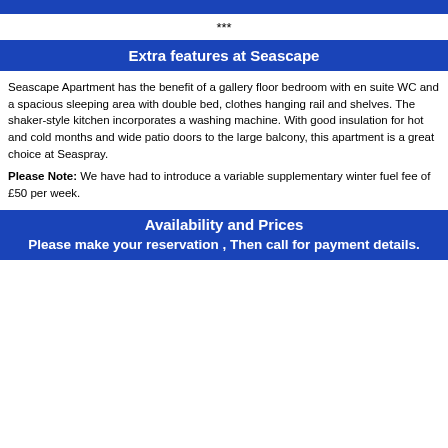***
Extra features at Seascape
Seascape Apartment has the benefit of a gallery floor bedroom with en suite WC and a spacious sleeping area with double bed, clothes hanging rail and shelves. The shaker-style kitchen incorporates a washing machine. With good insulation for hot and cold months and wide patio doors to the large balcony, this apartment is a great choice at Seaspray.
Please Note: We have had to introduce a variable supplementary winter fuel fee of £50 per week.
Availability and Prices
Please make your reservation , Then call for payment details.